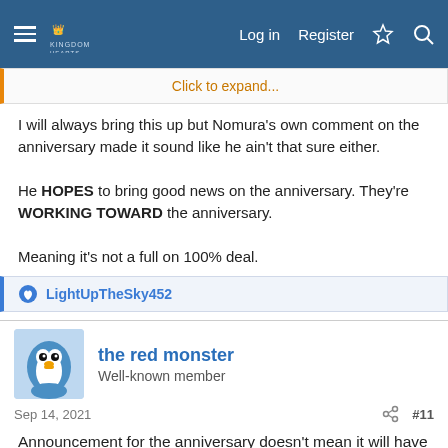Navigation bar with hamburger menu, logo, Log in, Register, and search icons
Click to expand...
I will always bring this up but Nomura's own comment on the anniversary made it sound like he ain't that sure either.

He HOPES to bring good news on the anniversary. They're WORKING TOWARD the anniversary.

Meaning it's not a full on 100% deal.
LightUpTheSky452
the red monster
Well-known member
Sep 14, 2021
#11
Announcement for the anniversary doesn't mean it will have to be released at the same year.